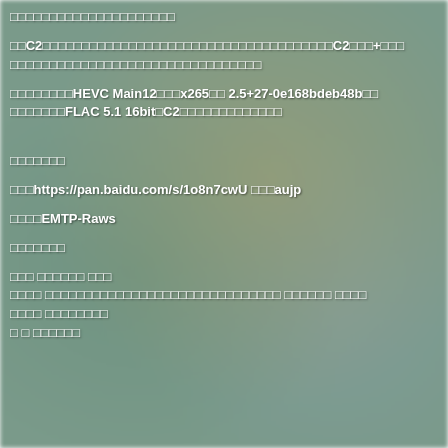□□□□□□□□□□□□□□□□□□□□□
□□C2□□□□□□□□□□□□□□□□□□□□□□□□□□□□□□□□□□□□□C2□□□+□□□□□□□□□□□□□□□□□□□□□□□□□□□□□□□□□
□□□□□□□□HEVC Main12□□□x265□□ 2.5+27-0e168bdeb48b□□□□□□□□□□FLAC 5.1 16bit□C2□□□□□□□□□□□□□
□□□□□□□
□□□https://pan.baidu.com/s/1o8n7cwU □□□aujp
□□□□EMTP-Raws
□□□□□□□
□□□ □□□□□□ □□□
□□□□ □□□□□□□□□□□□□□□□□□□□□□□□□□□□□□ □□□□□□ □□□□
□□□□ □□□□□□□□
□ □ □□□□□□